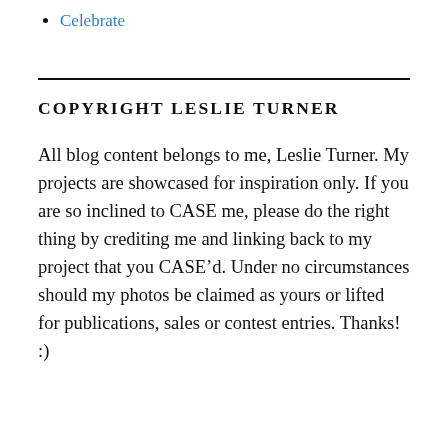Celebrate
COPYRIGHT LESLIE TURNER
All blog content belongs to me, Leslie Turner. My projects are showcased for inspiration only. If you are so inclined to CASE me, please do the right thing by crediting me and linking back to my project that you CASE'd. Under no circumstances should my photos be claimed as yours or lifted for publications, sales or contest entries. Thanks! :)